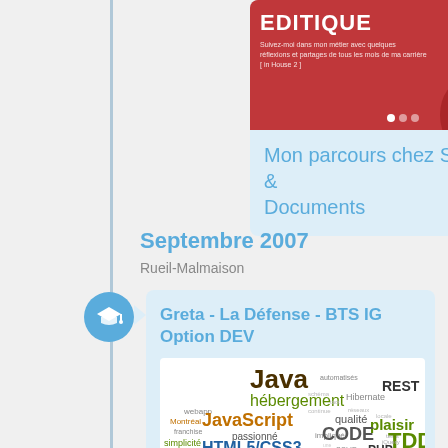[Figure (screenshot): Screenshot of a blog/website card showing an image with EDITIQUE title on red background, with subtitle text and navigation dots]
Mon parcours chez Systèmes & Documents
Septembre 2007
Rueil-Malmaison
Greta - La Défense - BTS IG Option DEV
[Figure (infographic): Word cloud showing technology and soft skills: Java, JavaScript, HTML5/CSS3, hébergement, REST, Hibernate, qualité, plaisir, CODE, TDD, PHP, équipes, transparence, Communiquer, Scrum, Agile, efficace, simplicité, efficacité, passionné, impliqué, Autonome, rigueur, serveurs, Montréal, franchise, webapp, livraison, québécoise, SOLID, jQuery, tests, locale, tact, réseaux, continue, schéma, automatisés]